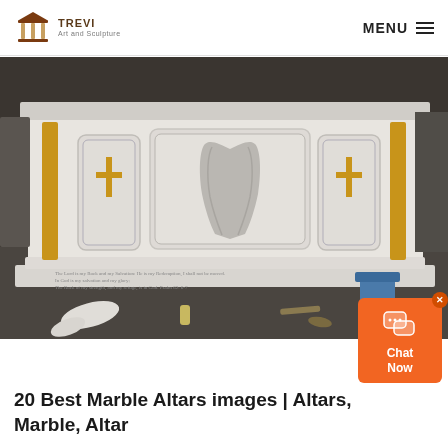TREVI Art and Sculpture — MENU
[Figure (photo): A large white marble altar with carved praying hands relief in the center panel, cross reliefs in side panels, gold-colored columns, and an inscription from Psalm 62 on the base. The altar is photographed in what appears to be a workshop or factory setting.]
20 Best Marble Altars images | Altars, Marble, Altar